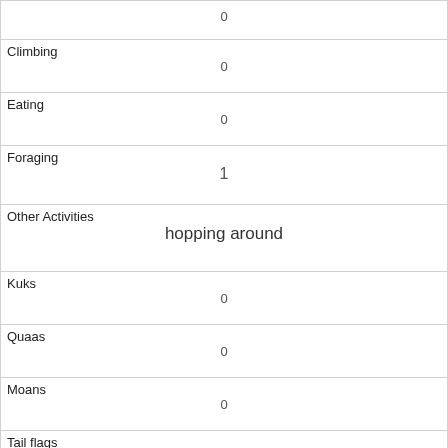|  | 0 |
| Climbing | 0 |
| Eating | 0 |
| Foraging | 1 |
| Other Activities | hopping around |
| Kuks | 0 |
| Quaas | 0 |
| Moans | 0 |
| Tail flags | 0 |
| Tail twitches | 0 |
| Approaches | 0 |